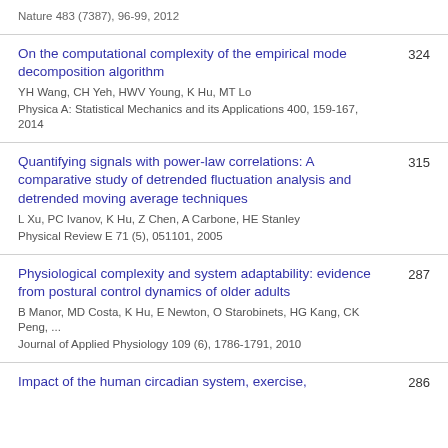Nature 483 (7387), 96-99, 2012
On the computational complexity of the empirical mode decomposition algorithm
YH Wang, CH Yeh, HWV Young, K Hu, MT Lo
Physica A: Statistical Mechanics and its Applications 400, 159-167, 2014
324
Quantifying signals with power-law correlations: A comparative study of detrended fluctuation analysis and detrended moving average techniques
L Xu, PC Ivanov, K Hu, Z Chen, A Carbone, HE Stanley
Physical Review E 71 (5), 051101, 2005
315
Physiological complexity and system adaptability: evidence from postural control dynamics of older adults
B Manor, MD Costa, K Hu, E Newton, O Starobinets, HG Kang, CK Peng, ...
Journal of Applied Physiology 109 (6), 1786-1791, 2010
287
Impact of the human circadian system, exercise,
286